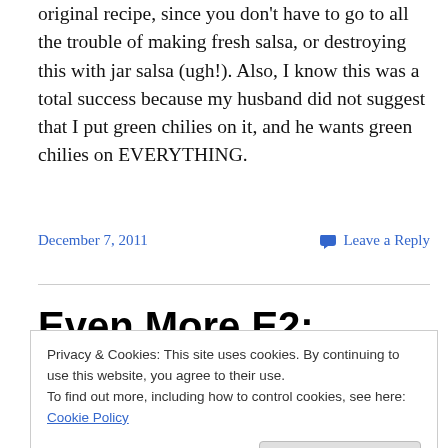original recipe, since you don't have to go to all the trouble of making fresh salsa, or destroying this with jar salsa (ugh!). Also, I know this was a total success because my husband did not suggest that I put green chilies on it, and he wants green chilies on EVERYTHING.
December 7, 2011   Leave a Reply
Even More E2: Portobello Fajitas
Privacy & Cookies: This site uses cookies. By continuing to use this website, you agree to their use. To find out more, including how to control cookies, see here: Cookie Policy. Close and accept